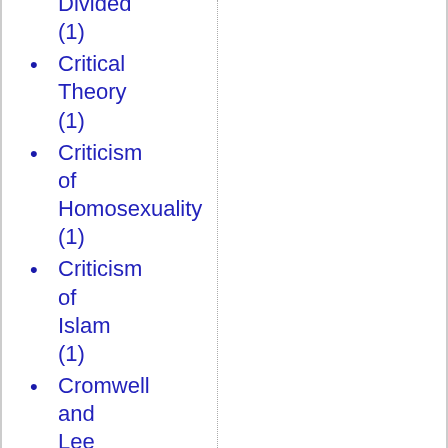Divided (1)
Critical Theory (1)
Criticism of Homosexuality (1)
Criticism of Islam (1)
Cromwell and Lee (1)
Crooked Timber (1)
Crusades (1)
Cultural Studies (1)